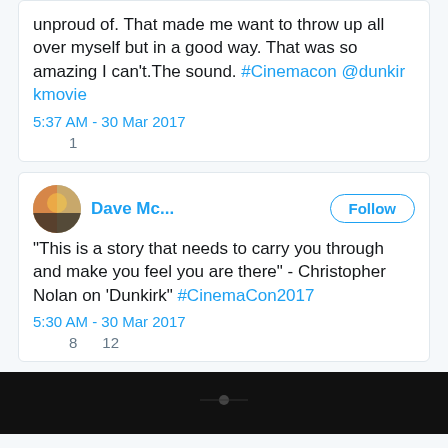unproud of. That made me want to throw up all over myself but in a good way. That was so amazing I can't.The sound. #Cinemacon @dunkirkmovie
5:37 AM - 30 Mar 2017
1
Dave Mc...
"This is a story that needs to carry you through and make you feel you are there" - Christopher Nolan on 'Dunkirk" #CinemaCon2017
5:30 AM - 30 Mar 2017
8   12
[Figure (photo): Dark/black image at the bottom of the page, appears to be a partial screenshot or thumbnail]